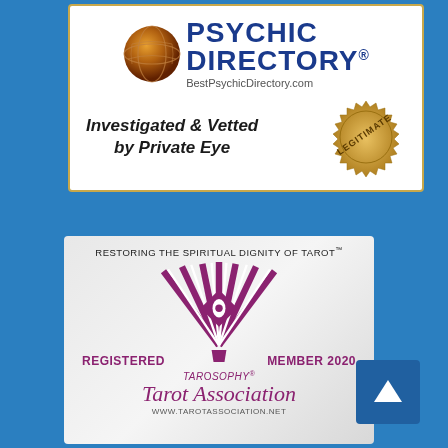[Figure (logo): Best Psychic Directory badge: globe icon, 'PSYCHIC DIRECTORY®' text with BestPsychicDirectory.com, text 'Investigated & Vetted by Private Eye', gold 'LEGITIMATE' stamp seal]
[Figure (logo): Tarot Association badge: 'Restoring the Spiritual Dignity of Tarot™' tagline, purple fan/diamond logo with eye, 'REGISTERED MEMBER 2020', 'Tarosophy® Tarot Association', www.tarotassociation.net]